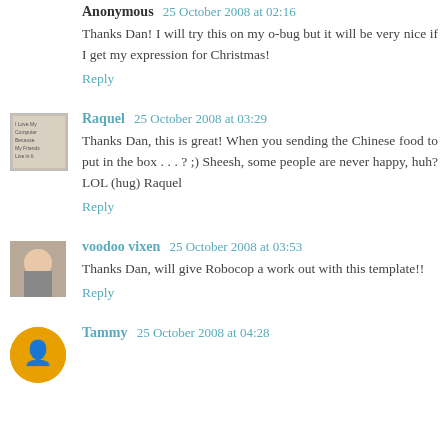Anonymous 25 October 2008 at 02:16
Thanks Dan! I will try this on my o-bug but it will be very nice if I get my expression for Christmas!
Reply
Raquel 25 October 2008 at 03:29
Thanks Dan, this is great! When you sending the Chinese food to put in the box . . . ? ;) Sheesh, some people are never happy, huh? LOL (hug) Raquel
Reply
voodoo vixen 25 October 2008 at 03:53
Thanks Dan, will give Robocop a work out with this template!!
Reply
Tammy 25 October 2008 at 04:28